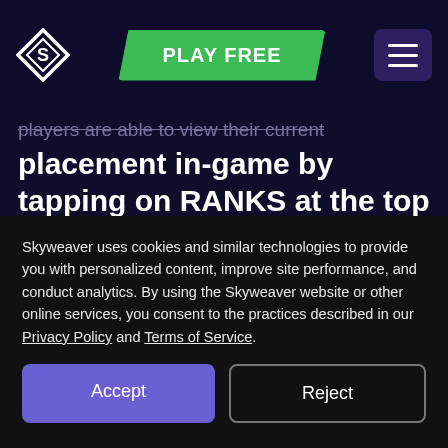PLAY FREE
players are able to view their current placement in-game by tapping on RANKS at the top right of the menu.
[Figure (screenshot): Game UI screenshot showing a weekly rank placement table with columns: END OF THE WEEK RANK PLACMENT showing '1 - 100', and CONQUEST TICKET REWARD AMOUNT showing a ticket icon.]
Skyweaver uses cookies and similar technologies to provide you with personalized content, improve site performance, and conduct analytics. By using the Skyweaver website or other online services, you consent to the practices described in our Privacy Policy and Terms of Service.
Accept
Reject